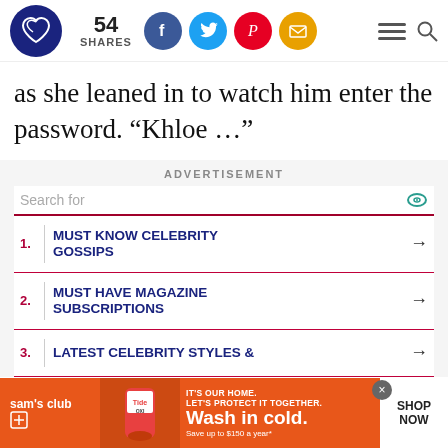54 SHARES — social share header with Facebook, Twitter, Pinterest, Email icons
as she leaned in to watch him enter the password. “Khloe …”
ADVERTISEMENT
Search for
1. MUST KNOW CELEBRITY GOSSIPS
2. MUST HAVE MAGAZINE SUBSCRIPTIONS
3. LATEST CELEBRITY STYLES &
[Figure (infographic): Sam's Club banner ad: Tide OXI product image with text 'IT'S OUR HOME. LET'S PROTECT IT TOGETHER. Wash in cold. Save up to $150 a year*' and SHOP NOW button]